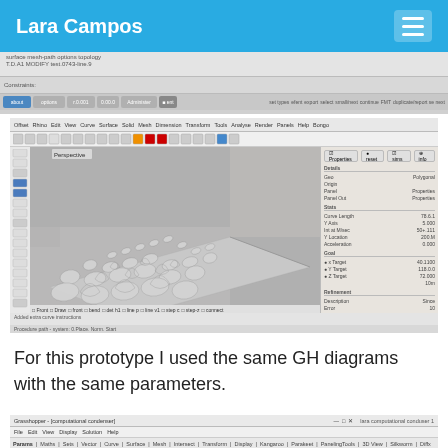Lara Campos
[Figure (screenshot): Partial view of a 3D modeling software (likely Rhino/Grasshopper) showing a toolbar and status bar at the top]
[Figure (screenshot): 3D modeling software viewport showing a procedurally generated surface with ornamental floral/arabesque relief patterns on a flat tile, viewed in perspective. Right panel shows object properties. Left side shows tool icons.]
For this prototype I used the same GH diagrams with the same parameters.
[Figure (screenshot): Bottom portion of another 3D/computational design software window showing menu bar with File, Edit, View, Display, Solution, Help menus and a toolbar with icons]